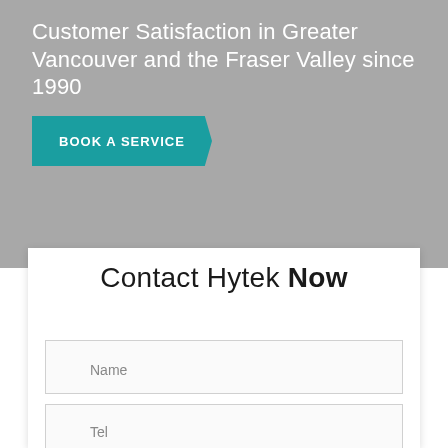Customer Satisfaction in Greater Vancouver and the Fraser Valley since 1990
[Figure (other): Teal 'BOOK A SERVICE' button with chevron shape on grey background]
Contact Hytek Now
Name
Tel